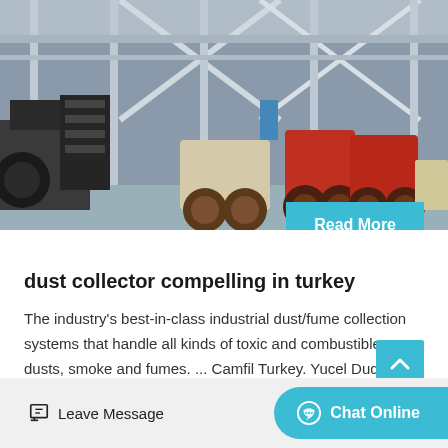[Figure (photo): Industrial factory floor with heavy machinery including red and beige crushers/mills and metal structural framework]
dust collector compelling in turkey
The industry's best-in-class industrial dust/fume collection systems that handle all kinds of toxic and combustible dusts, smoke and fumes. ... Camfil Turkey. Yucel Duduoglu. Barbaros Mah....
Leave Message  Chat Online